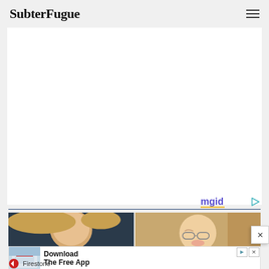SubterFugue
[Figure (other): White content area / advertisement placeholder]
[Figure (logo): mgid logo with play button icon and yellow underline]
[Figure (photo): Two side-by-side photos: left shows a blonde woman at an event, right shows a young person with glasses smiling]
[Figure (infographic): Firestone advertisement banner: photo of store, text 'Download The Free App', Firestone logo and name]